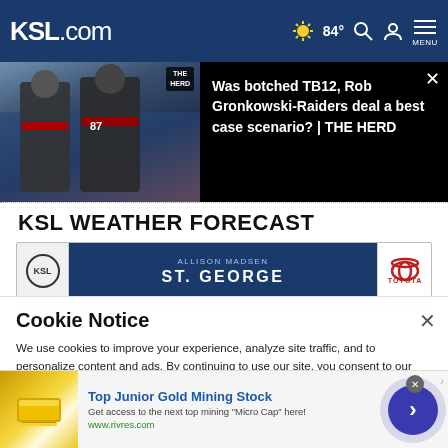KSL.com — 84° navigation bar
[Figure (screenshot): Video thumbnail showing two NFL players in Tampa Bay Buccaneers uniforms (TB12 and #87 Rob Gronkowski) on a dark background with THE HERD badge]
Was botched TB12, Rob Gronkowski-Raiders deal a best case scenario? | THE HERD
KSL WEATHER FORECAST
[Figure (screenshot): KSL Weather Forecast card showing presenter Allison Madsen, location ST. GEORGE, with KSL logo and Toyota sponsor badge]
Cookie Notice
We use cookies to improve your experience, analyze site traffic, and to personalize content and ads. By continuing to use our site, you consent to our use of cookies. Please visit our Terms of Use and Privacy Policy for more information
[Figure (screenshot): Advertisement banner: Top Junior Gold Mining Stock — Get access to the next top mining Micro Cap here! www.rivres.com — with gold bar image and blue CTA button]